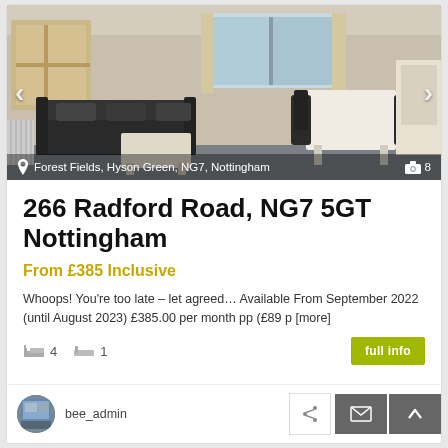[Figure (photo): Interior photo of a living room with leather sofa, coffee table, and dining area. Navigation arrows on left and right.]
Forest Fields, Hyson Green, NG7, Nottingham  📷 8
266 Radford Road, NG7 5GT Nottingham
From £385 Inclusive
Whoops! You're too late – let agreed… Available From September 2022 (until August 2023) £385.00 per month pp (£89 p [more]
🛏 4   🛁 1
bee_admin